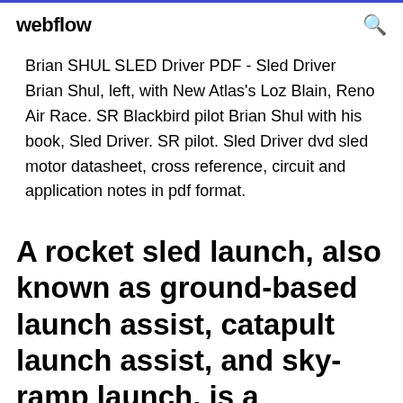webflow
Brian SHUL SLED Driver PDF - Sled Driver Brian Shul, left, with New Atlas's Loz Blain, Reno Air Race. SR Blackbird pilot Brian Shul with his book, Sled Driver. SR pilot. Sled Driver dvd sled motor datasheet, cross reference, circuit and application notes in pdf format.
A rocket sled launch, also known as ground-based launch assist, catapult launch assist, and sky-ramp launch, is a proposed method for launching space vehicles.